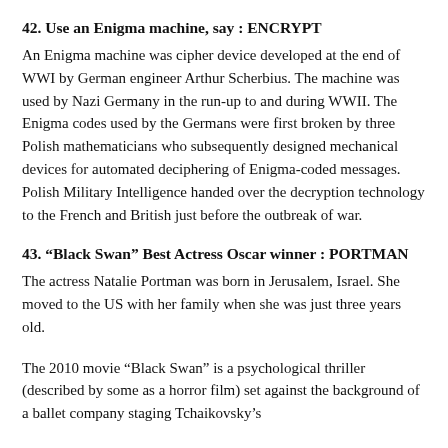42. Use an Enigma machine, say : ENCRYPT
An Enigma machine was cipher device developed at the end of WWI by German engineer Arthur Scherbius. The machine was used by Nazi Germany in the run-up to and during WWII. The Enigma codes used by the Germans were first broken by three Polish mathematicians who subsequently designed mechanical devices for automated deciphering of Enigma-coded messages. Polish Military Intelligence handed over the decryption technology to the French and British just before the outbreak of war.
43. “Black Swan” Best Actress Oscar winner : PORTMAN
The actress Natalie Portman was born in Jerusalem, Israel. She moved to the US with her family when she was just three years old.
The 2010 movie “Black Swan” is a psychological thriller (described by some as a horror film) set against the background of a ballet company staging Tchaikovsky’s “Swan Lake”. Natalie Portman plays the lead role in ballet…